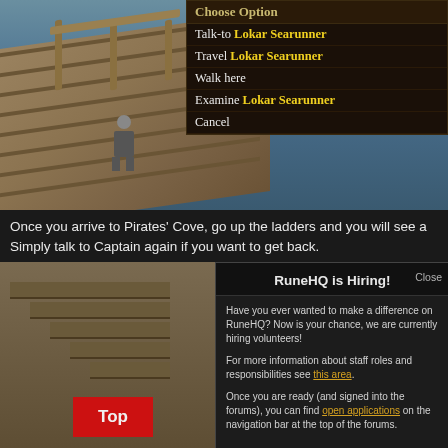[Figure (screenshot): RuneScape game screenshot showing dock/pier area with a character, sky background, and a right-click context menu with options: Choose Option, Talk-to Lokar Searunner, Travel Lokar Searunner, Walk here, Examine Lokar Searunner, Cancel]
Once you arrive to Pirates' Cove, go up the ladders and you will see a Simply talk to Captain again if you want to get back.
[Figure (screenshot): Bottom section with RuneHQ is Hiring modal dialog overlay on top of game screenshot. Modal contains text about hiring volunteers and links 'this area' and 'open applications'. A red 'Top' button is visible on the left. A 'Choose Option' bar is partially visible at the bottom.]